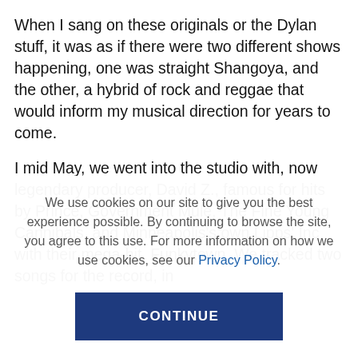When I sang on these originals or the Dylan stuff, it was as if there were two different shows happening, one was straight Shangoya, and the other, a hybrid of rock and reggae that would inform my musical direction for years to come.
I mid May, we went into the studio with, now legendary producer, David Z., famous for hits by Prince, Government Mule, The Fine Young Cannibals, and Minneapolis's own Lipps' Inc with their mega-hit, Funkytown. We tracked two songs for the record, in
We use cookies on our site to give you the best experience possible. By continuing to browse the site, you agree to this use. For more information on how we use cookies, see our Privacy Policy.
CONTINUE